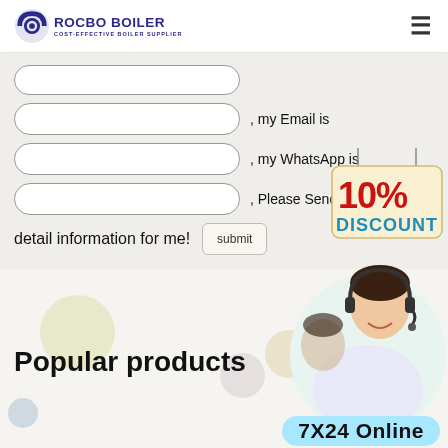ROCBO BOILER - COST-EFFECTIVE BOILER SUPPLIER
, my Email is
, my WhatsApp is
, Please Send the detail information for me!
[Figure (infographic): 10% DISCOUNT badge/sign hanging on string]
[Figure (photo): Customer service representative with headset smiling]
Popular products
7X24 Online